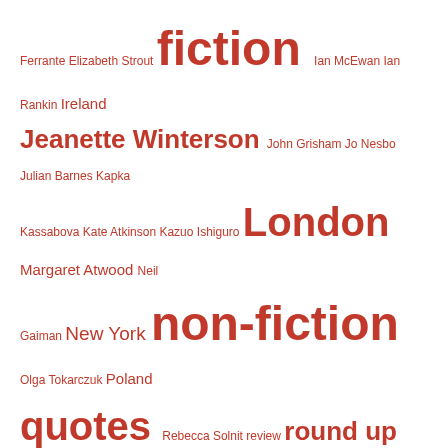[Figure (infographic): Tag cloud with author names, genres, and locations in varying red font sizes. Terms include: Ferrante, Elizabeth Strout, fiction, Ian McEwan, Ian Rankin, Ireland, Jeanette Winterson, John Grisham, Jo Nesbo, Julian Barnes, Kapka Kassabova, Kate Atkinson, Kazuo Ishiguro, London, Margaret Atwood, Neil Gaiman, New York, non-fiction, Olga Tokarczuk, Poland, quotes, Rebecca Solnit, review, round up, Shirley Jackson, short stories, Stephen King, The United Kingdom, Thoughts, Thriller, Toni Morisson, travel, United Kingdom, United States, warsaw]
Privacy & Cookies: This site uses cookies. By continuing to use this website, you agree to their use. To find out more, including how to control cookies, see here: Cookie Policy
Close and accept